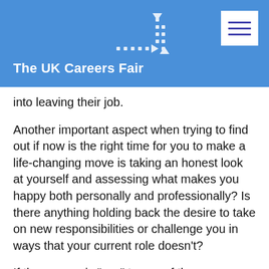The UK Careers Fair
into leaving their job.
Another important aspect when trying to find out if now is the right time for you to make a life-changing move is taking an honest look at yourself and assessing what makes you happy both personally and professionally? Is there anything holding back the desire to take on new responsibilities or challenge you in ways that your current role doesn't?
If the answer is "yes" to any of these questions, it might be time for a change.